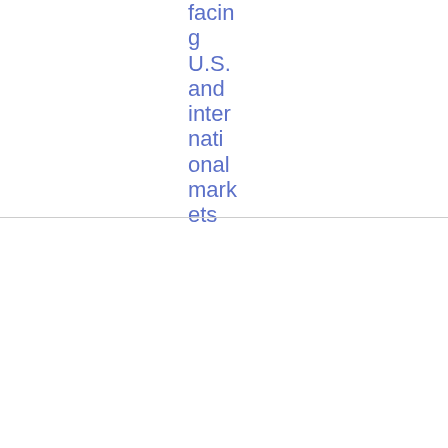facing U.S. and international markets
| Date | ID | Title | Category | Type | File |
| --- | --- | --- | --- | --- | --- |
| 07/02/2012 | 2012/73 | What problems do consumers face when seek | Speeches | Speech | PDF 43.02 KB |